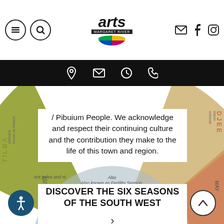[Figure (screenshot): Arts Margaret River website header with logo, hamburger menu, search icon, and social media icons (email, Facebook, Instagram)]
[Figure (screenshot): Black navigation bar with location pin, email, clock, and phone icons]
/ Pibuium People. We acknowledge and respect their continuing culture and the contribution they make to the life of this town and region.
DISCOVER THE SIX SEASONS OF THE SOUTH WEST
[Figure (infographic): Noongar six seasons circular wheel diagram showing MAKURU season in the centre, with TILBA and DJEE labels on sides, AUGUST and MAY month labels, JULY and JUNE at bottom (inverted), fertility season text, and coloured segments for different seasons]
Also known as Fertility Season.